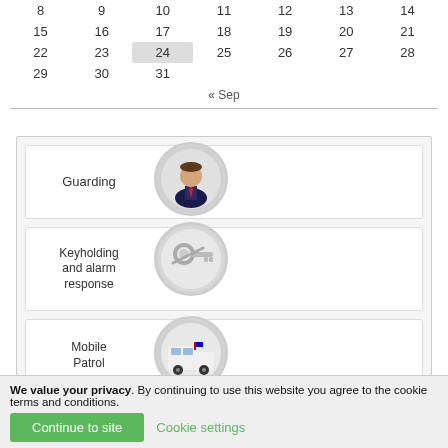| 8 | 9 | 10 | 11 | 12 | 13 | 14 |
| 15 | 16 | 17 | 18 | 19 | 20 | 21 |
| 22 | 23 | 24 | 25 | 26 | 27 | 28 |
| 29 | 30 | 31 |  |  |  |  |
« Sep
[Figure (infographic): Security services menu with four items: Guarding (man in suit icon), Keyholding and alarm response (key icon), Mobile Patrol (van icon), Support Services (CCTV camera icon)]
We value your privacy. By continuing to use this website you agree to the cookie terms and conditions.
Continue to site
Cookie settings